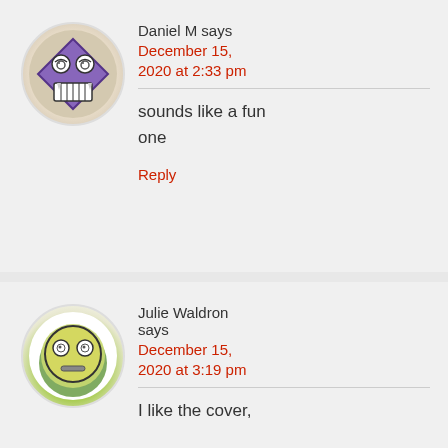[Figure (illustration): Circular avatar with beige/grey background and a purple diamond-shaped monster face with spiral eyes and a toothy grin]
Daniel M says
December 15, 2020 at 2:33 pm
sounds like a fun one
Reply
[Figure (illustration): Circular avatar with white background and green glow, showing a yellow smiley face with wide eyes and a flat/worried mouth]
Julie Waldron says
December 15, 2020 at 3:19 pm
I like the cover,